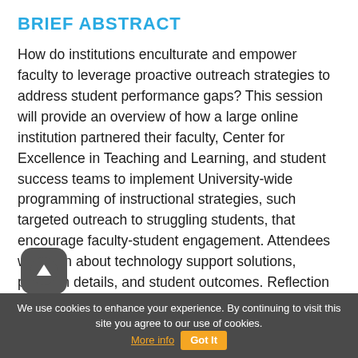BRIEF ABSTRACT
How do institutions enculturate and empower faculty to leverage proactive outreach strategies to address student performance gaps? This session will provide an overview of how a large online institution partnered their faculty, Center for Excellence in Teaching and Learning, and student success teams to implement University-wide programming of instructional strategies, such targeted outreach to struggling students, that encourage faculty-student engagement. Attendees will learn about technology support solutions, program details, and student outcomes. Reflection and Q&A will focus on a cross-institutional discussion on how universities and solution providers
We use cookies to enhance your experience. By continuing to visit this site you agree to our use of cookies. More info   Got It